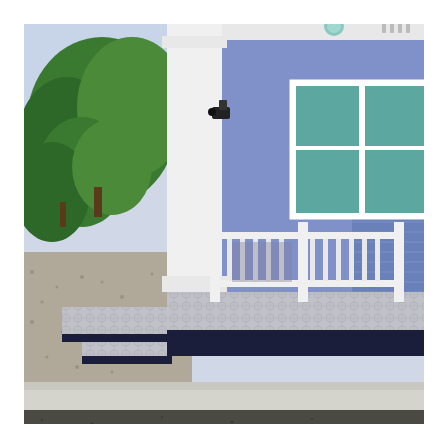[Figure (photo): Exterior photograph of a modern single-story house with light blue/periwinkle walls, white trim, white columns, and a white railing on a covered porch. The house has teal/green-tinted windows with white frames, patterned tile on the porch steps, a dark navy base/foundation stripe, and a concrete driveway/walkway. Green trees are visible in the background on the left side. A security camera is mounted on the column. The photo is taken at an angle showing the front porch and right facade.]